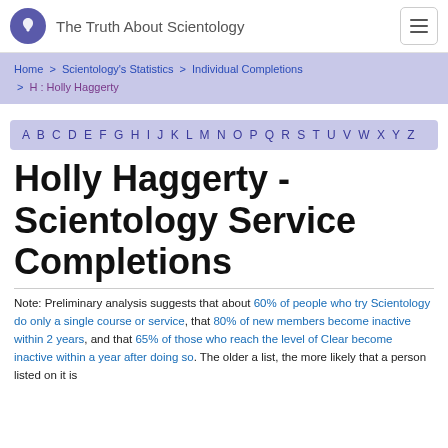The Truth About Scientology
Home > Scientology's Statistics > Individual Completions > H : Holly Haggerty
A B C D E F G H I J K L M N O P Q R S T U V W X Y Z
Holly Haggerty - Scientology Service Completions
Note: Preliminary analysis suggests that about 60% of people who try Scientology do only a single course or service, that 80% of new members become inactive within 2 years, and that 65% of those who reach the level of Clear become inactive within a year after doing so. The older a list, the more likely that a person listed on it is